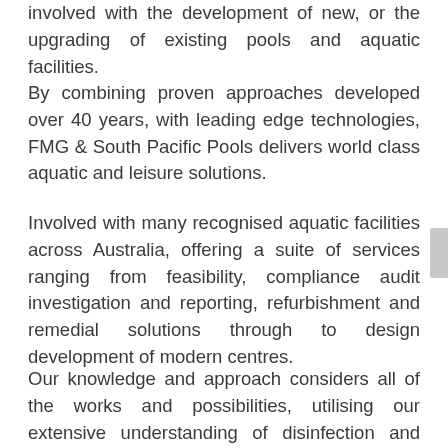involved with the development of new, or the upgrading of existing pools and aquatic facilities.
By combining proven approaches developed over 40 years, with leading edge technologies, FMG & South Pacific Pools delivers world class aquatic and leisure solutions.
Involved with many recognised aquatic facilities across Australia, offering a suite of services ranging from feasibility, compliance audit investigation and reporting, refurbishment and remedial solutions through to design development of modern centres.
Our knowledge and approach considers all of the works and possibilities, utilising our extensive understanding of disinfection and filtration design systems through to our knowledge of pool fixings